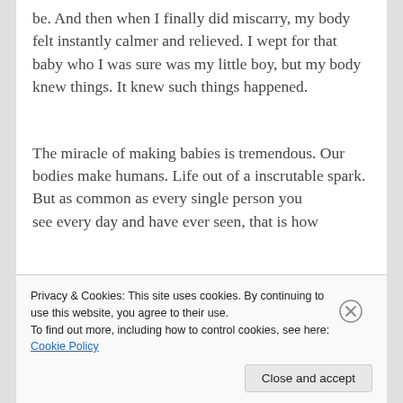be. And then when I finally did miscarry, my body felt instantly calmer and relieved. I wept for that baby who I was sure was my little boy, but my body knew things. It knew such things happened.
The miracle of making babies is tremendous. Our bodies make humans. Life out of a inscrutable spark. But as common as every single person you see every day and have ever seen, that is how
Privacy & Cookies: This site uses cookies. By continuing to use this website, you agree to their use.
To find out more, including how to control cookies, see here: Cookie Policy